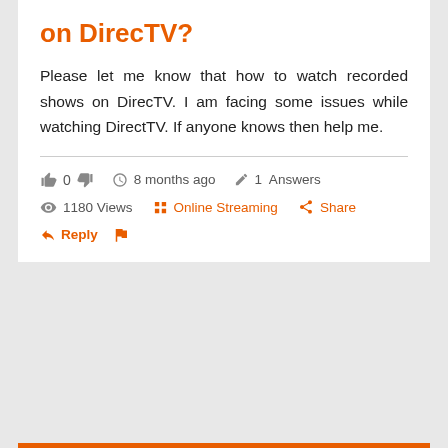on DirecTV?
Please let me know that how to watch recorded shows on DirecTV. I am facing some issues while watching DirectTV. If anyone knows then help me.
👍 0 👎   🕐 8 months ago   ✏ 1  Answers
👁 1180 Views   Online Streaming   Share
Reply   🚩